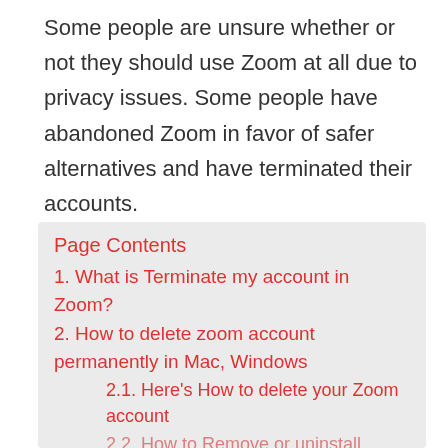Some people are unsure whether or not they should use Zoom at all due to privacy issues. Some people have abandoned Zoom in favor of safer alternatives and have terminated their accounts.
Page Contents
1. What is Terminate my account in Zoom?
2. How to delete zoom account permanently in Mac, Windows
2.1. Here's How to delete your Zoom account
2.2. How to Remove or uninstall Zoom on Mac
2.3. How to Remove or uninstall Zoom